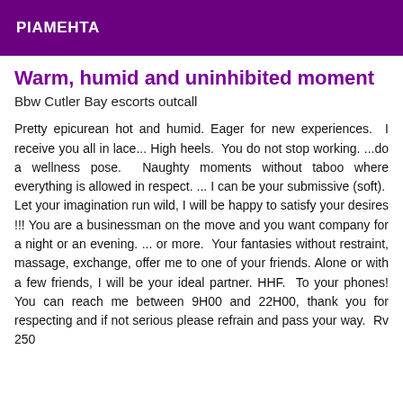PIAMEHTA
Warm, humid and uninhibited moment
Bbw Cutler Bay escorts outcall
Pretty epicurean hot and humid. Eager for new experiences.  I receive you all in lace... High heels.  You do not stop working. ...do a wellness pose.  Naughty moments without taboo where everything is allowed in respect. ... I can be your submissive (soft).  Let your imagination run wild, I will be happy to satisfy your desires !!! You are a businessman on the move and you want company for a night or an evening. ... or more.  Your fantasies without restraint, massage, exchange, offer me to one of your friends. Alone or with a few friends, I will be your ideal partner. HHF.  To your phones! You can reach me between 9H00 and 22H00, thank you for respecting and if not serious please refrain and pass your way.  Rv 250